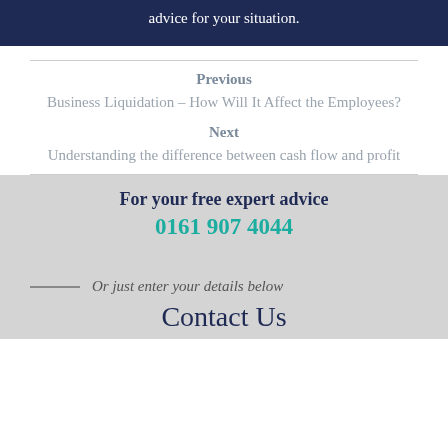advice for your situation.
Previous
Business Liquidation – How Will It Affect the Employees?
Next
Understanding the difference between cash flow and profit
For your free expert advice
0161 907 4044
Or just enter your details below
Contact Us